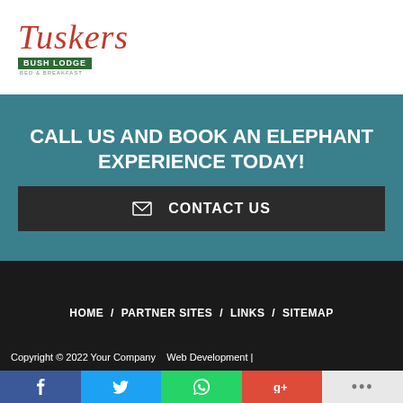[Figure (logo): Tuskers Bush Lodge logo - red italic script 'Tuskers' above green banner 'BUSH LODGE' with 'BED & BREAKFAST' below]
CALL US AND BOOK AN ELEPHANT EXPERIENCE TODAY!
✉ CONTACT US
HOME / PARTNER SITES / LINKS / SITEMAP
Copyright © 2022 Your Company Web Development |
[Figure (infographic): Social share buttons: Facebook (blue), Twitter (cyan), WhatsApp (green), Google+ (red), More (light grey with ...)]